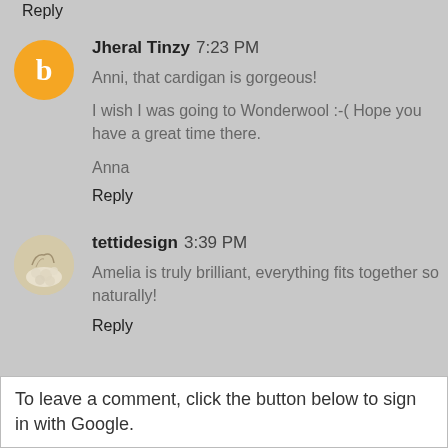Reply
Jheral Tinzy 7:23 PM
Anni, that cardigan is gorgeous!

I wish I was going to Wonderwool :-( Hope you have a great time there.

Anna
Reply
tettidesign 3:39 PM
Amelia is truly brilliant, everything fits together so naturally!
Reply
To leave a comment, click the button below to sign in with Google.